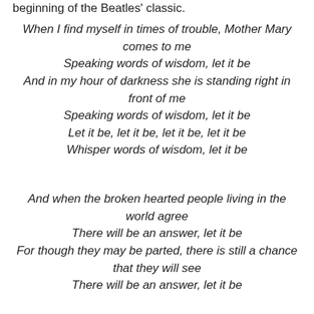beginning of the Beatles' classic.
When I find myself in times of trouble, Mother Mary comes to me
Speaking words of wisdom, let it be
And in my hour of darkness she is standing right in front of me
Speaking words of wisdom, let it be
Let it be, let it be, let it be, let it be
Whisper words of wisdom, let it be
And when the broken hearted people living in the world agree
There will be an answer, let it be
For though they may be parted, there is still a chance that they will see
There will be an answer, let it be